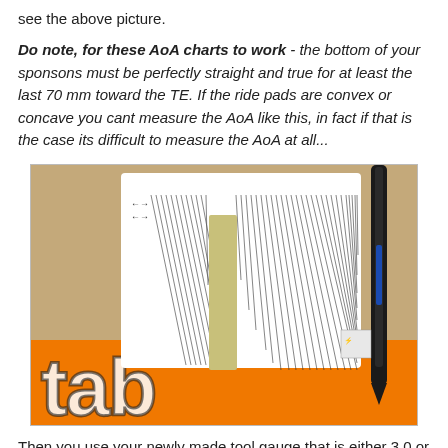see the above picture.
Do note, for these AoA charts to work - the bottom of your sponsons must be perfectly straight and true for at least the last 70 mm toward the TE. If the ride pads are convex or concave you cant measure the AoA like this, in fact if that is the case its difficult to measure the AoA at all...
[Figure (photo): Close-up photo of an AoA measurement chart (white card with parallel lines and a yellow/tan rectangular notch) placed on an orange surface with 'tab' branding text visible, and a black pen/marker touching the right side of the card.]
Then you use your newly made tool gauge that is either 3.0 or 3.2 mm thick and lay it on the chart in front of the sponson to be measured. Then push it carefully back until it touches